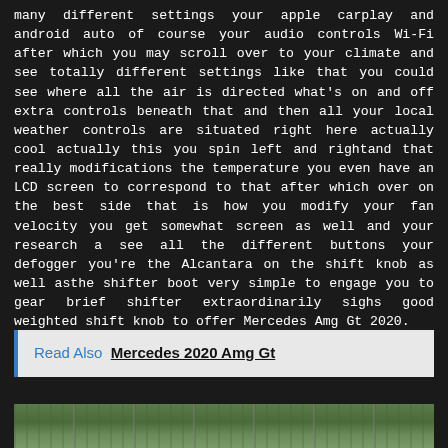many different settings your apple carplay and android auto of course your audio controls Wi-Fi after which you may scroll over to your climate and see totally different settings like that you could see where all the air is directed what's on and off extra controls beneath that and then all your local weather controls are situated right here actually cool actually this you spin left and rightand that really modifications the temperature you even have an LCD screen to correspond to that after which over on the best side that is how you modify your fan velocity you get somewhat screen as well and your research a see all the different buttons your defogger you're the Alcantara on the shift knob as well asthe shifter boot very simple to engage you to gear brief shifter extraordinarily sighs good weighted shift knob to offer Mercedes Amg Gt 2020.
Read Also  Mercedes 2020 Amg Gt
[Figure (photo): Partial view of a road or track with trees and greenery in the background, cropped at bottom of page.]